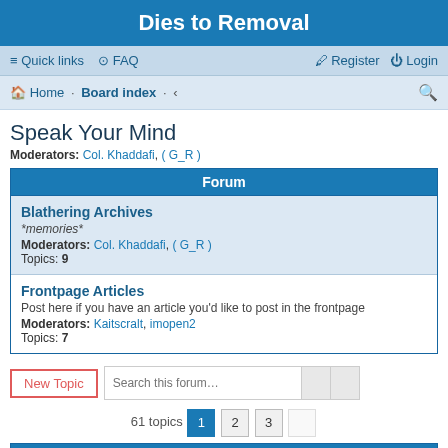Dies to Removal
Quick links  FAQ  Register  Login
Home · Board index · ‹
Speak Your Mind
Moderators: Col. Khaddafi, ( G_R )
Forum
| Forum |
| --- |
| Blathering Archives
*memories*
Moderators: Col. Khaddafi, ( G_R )
Topics: 9 |
| Frontpage Articles
Post here if you have an article you'd like to post in the frontpage
Moderators: Kaitscralt, imopen2
Topics: 7 |
New Topic   Search this forum…
61 topics  1  2  3
Announcements
New Feature - Tapatalk